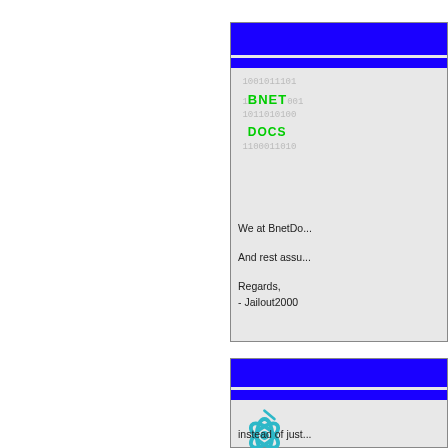[Figure (screenshot): BnetDocs card with binary background and green BNET DOCS overlay text, blue header bars]
We at BnetDo...
And rest assu...
Regards,
- Jailout2000
[Figure (screenshot): Second card with blue header bars and teal Blizzard/BNet logo icon]
instead of just...